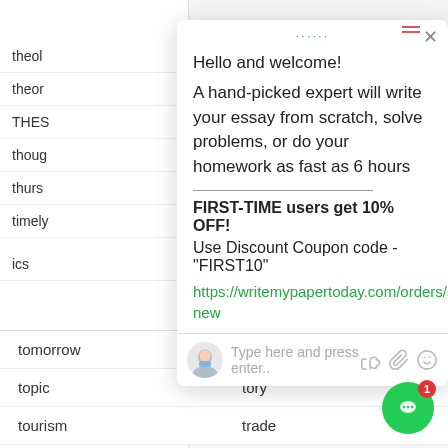[Figure (screenshot): Background website list with partial word entries (theol, theor, THES, thoug, thurs, timely, ics)]
[Figure (screenshot): Chat popup widget with greeting, essay writing service promotion, discount coupon, link, and input area]
Hello and welcome!
A hand-picked expert will write your essay from scratch, solve problems, or do your homework as fast as 6 hours
FIRST-TIME users get 10% OFF!
Use Discount Coupon code - "FIRST10"
https://writemypapertoday.com/orders/stud/new
Type here and press enter..
tomorrow
tonight
topic
tory
tourism
trade